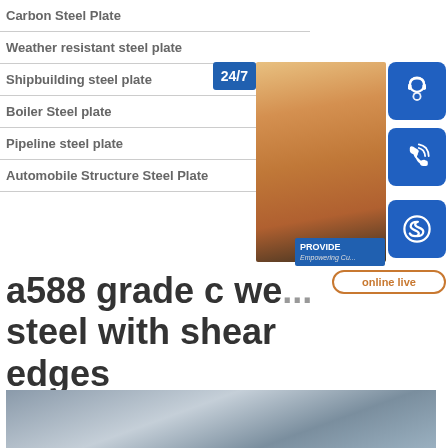Carbon Steel Plate
Weather resistant steel plate
Shipbuilding steel plate
Boiler Steel plate
Pipeline steel plate
Automobile Structure Steel Plate
[Figure (photo): Customer service representative with headset, with 24/7 support badge and online live chat button]
a588 grade c weathering steel with shear edges
[Figure (photo): Steel plate product photo showing shiny metal surface]